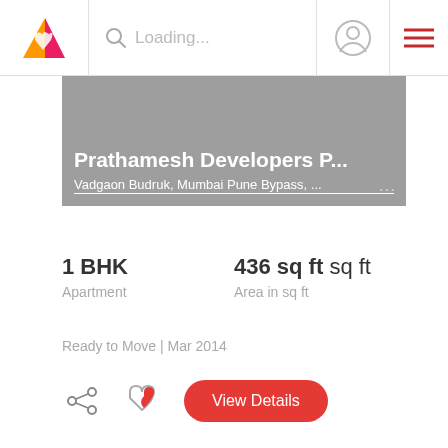Loading...
Prathamesh Developers P...
Vadgaon Budruk, Mumbai Pune Bypass, ...
1 BHK
Apartment
436 sq ft sq ft
Area in sq ft
Ready to Move | Mar 2014
View Details